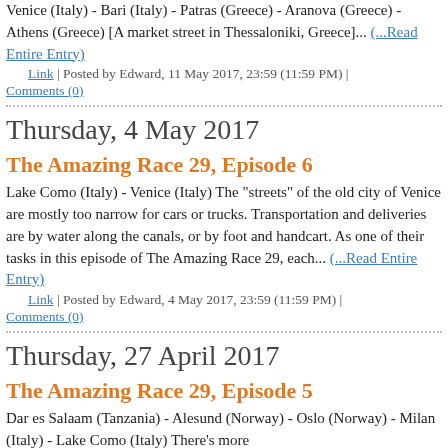Venice (Italy) - Bari (Italy) - Patras (Greece) - Aranova (Greece) - Athens (Greece) [A market street in Thessaloniki, Greece]... (...Read Entire Entry)
Link | Posted by Edward, 11 May 2017, 23:59 (11:59 PM) |
Comments (0)
Thursday, 4 May 2017
The Amazing Race 29, Episode 6
Lake Como (Italy) - Venice (Italy) The "streets" of the old city of Venice are mostly too narrow for cars or trucks. Transportation and deliveries are by water along the canals, or by foot and handcart. As one of their tasks in this episode of The Amazing Race 29, each... (...Read Entire Entry)
Link | Posted by Edward, 4 May 2017, 23:59 (11:59 PM) |
Comments (0)
Thursday, 27 April 2017
The Amazing Race 29, Episode 5
Dar es Salaam (Tanzania) - Alesund (Norway) - Oslo (Norway) - Milan (Italy) - Lake Como (Italy) There's more